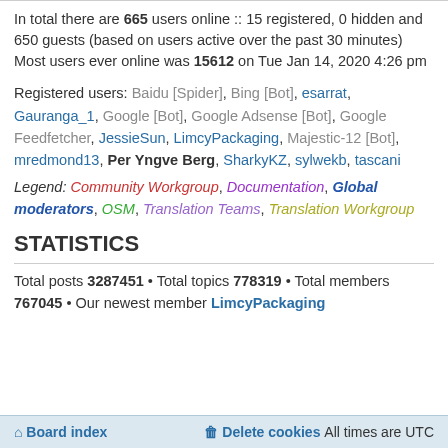In total there are 665 users online :: 15 registered, 0 hidden and 650 guests (based on users active over the past 30 minutes)
Most users ever online was 15612 on Tue Jan 14, 2020 4:26 pm
Registered users: Baidu [Spider], Bing [Bot], esarrat, Gauranga_1, Google [Bot], Google Adsense [Bot], Google Feedfetcher, JessieSun, LimcyPackaging, Majestic-12 [Bot], mredmond13, Per Yngve Berg, SharkyKZ, sylwekb, tascani
Legend: Community Workgroup, Documentation, Global moderators, OSM, Translation Teams, Translation Workgroup
STATISTICS
Total posts 3287451 • Total topics 778319 • Total members 767045 • Our newest member LimcyPackaging
Board index   Delete cookies   All times are UTC